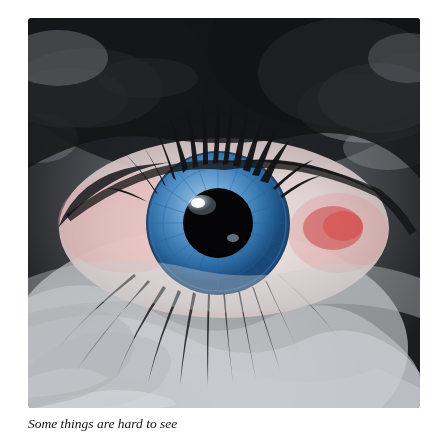[Figure (photo): A composite photograph blending a close-up of a human eye (blue iris, red-tinged sclera, black eyelashes) with a satellite view of a hurricane's swirling cloud formation. The eyelashes merge with the hurricane's spiral cloud bands. The upper eyelid area transitions into dark storm clouds. The lower lashes blend into the eye of the storm spiral.]
Some things are hard to see